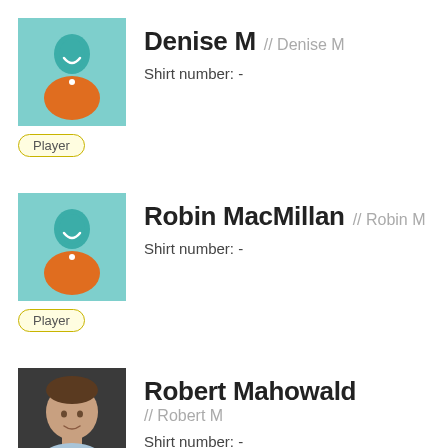[Figure (illustration): Generic player avatar: teal/light-blue background with illustrated silhouette figure in orange jersey]
Denise M // Denise M
Shirt number: -
Player
[Figure (illustration): Generic player avatar: teal/light-blue background with illustrated silhouette figure in orange jersey]
Robin MacMillan // Robin M
Shirt number: -
Player
[Figure (photo): Photo of Robert Mahowald: man in light blue shirt, dark background]
Robert Mahowald // Robert M
Shirt number: -
Player